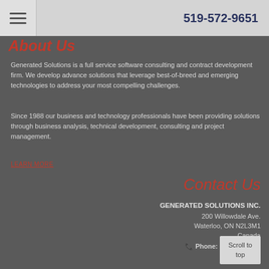519-572-9651
About Us
Generated Solutions is a full service software consulting and contract development firm. We develop advance solutions that leverage best-of-breed and emerging technologies to address your most compelling challenges.
Since 1988 our business and technology professionals have been providing solutions through business analysis, technical development, consulting and project management.
LEARN MORE
Contact Us
GENERATED SOLUTIONS INC.
200 Willowdale Ave.
Waterloo, ON N2L3M1
Canada
Phone: 519-572-9651